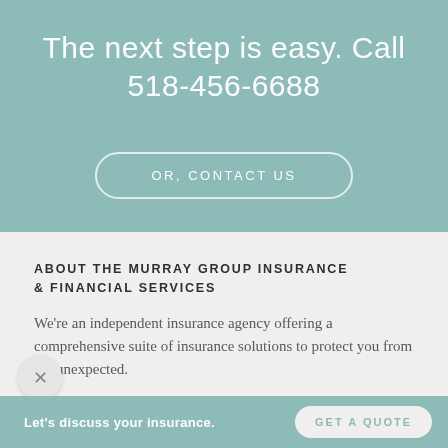The next step is easy. Call 518-456-6688
OR, CONTACT US
ABOUT THE MURRAY GROUP INSURANCE & FINANCIAL SERVICES
We're an independent insurance agency offering a comprehensive suite of insurance solutions to protect you from the unexpected.
Let's discuss your insurance.   GET A QUOTE